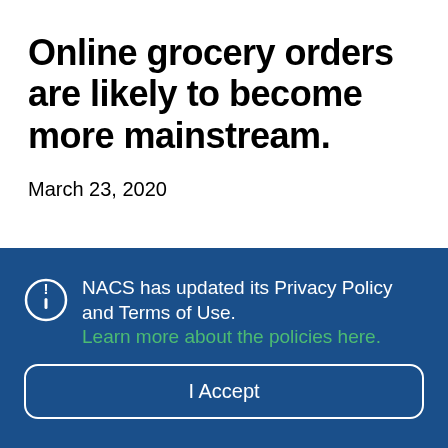Online grocery orders are likely to become more mainstream.
March 23, 2020
NACS has updated its Privacy Policy and Terms of Use. Learn more about the policies here.
I Accept